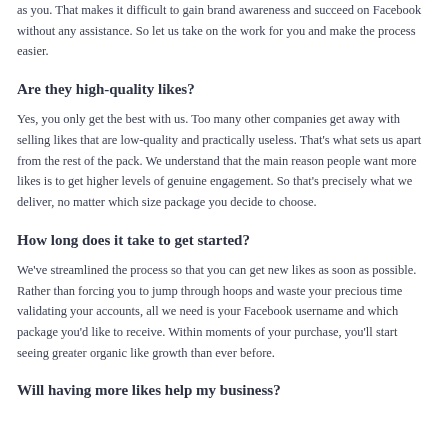as you. That makes it difficult to gain brand awareness and succeed on Facebook without any assistance. So let us take on the work for you and make the process easier.
Are they high-quality likes?
Yes, you only get the best with us. Too many other companies get away with selling likes that are low-quality and practically useless. That's what sets us apart from the rest of the pack. We understand that the main reason people want more likes is to get higher levels of genuine engagement. So that's precisely what we deliver, no matter which size package you decide to choose.
How long does it take to get started?
We've streamlined the process so that you can get new likes as soon as possible. Rather than forcing you to jump through hoops and waste your precious time validating your accounts, all we need is your Facebook username and which package you'd like to receive. Within moments of your purchase, you'll start seeing greater organic like growth than ever before.
Will having more likes help my business?